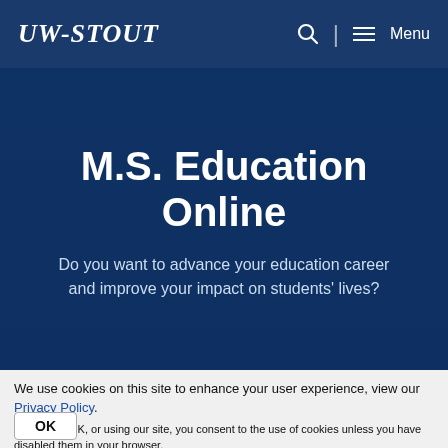UW-STOUT | Search | Menu
M.S. Education Online
Do you want to advance your education career and improve your impact on students' lives?
We use cookies on this site to enhance your user experience, view our Privacy Policy.
By clicking OK, or using our site, you consent to the use of cookies unless you have disabled them in your browser.
OK